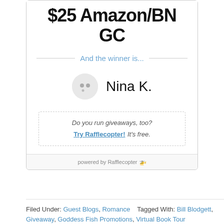$25 Amazon/BN GC
And the winner is...
Nina K.
Do you run giveaways, too? Try Rafflecopter! It's free.
powered by Rafflecopter
Filed Under: Guest Blogs, Romance   Tagged With: Bill Blodgett, Giveaway, Goddess Fish Promotions, Virtual Book Tour